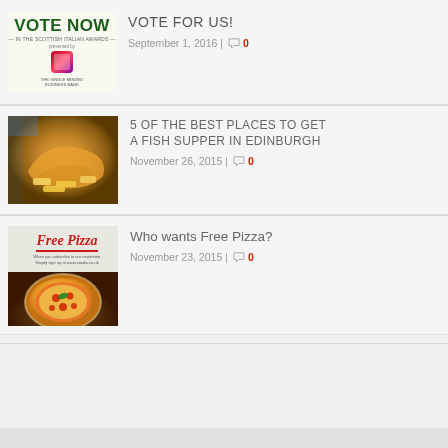[Figure (screenshot): Vote Now in the Scottish Italian Awards thumbnail image with green bold text and a bank logo]
VOTE FOR US!
September 1, 2016 | 0
[Figure (photo): Photo of fish and chips (fish supper) close-up]
5 OF THE BEST PLACES TO GET A FISH SUPPER IN EDINBURGH
November 26, 2015 | 0
[Figure (screenshot): Free Pizza promotional image with red italic text and a pizza photo below]
Who wants Free Pizza?
November 23, 2015 | 0